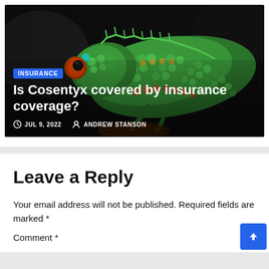[Figure (photo): A colorful panther chameleon with bright green scales and red/orange markings on a dark background, used as a hero image for a blog post about insurance coverage for Cosentyx.]
Is Cosentyx covered by insurance coverage?
JUL 9, 2022  ANDREW STANSON
Leave a Reply
Your email address will not be published. Required fields are marked *
Comment *